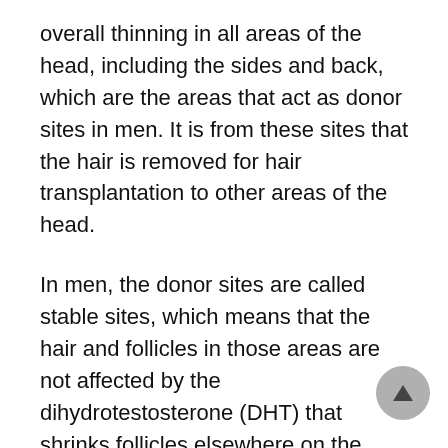overall thinning in all areas of the head, including the sides and back, which are the areas that act as donor sites in men. It is from these sites that the hair is removed for hair transplantation to other areas of the head.
In men, the donor sites are called stable sites, which means that the hair and follicles in those areas are not affected by the dihydrotestosterone (DHT) that shrinks follicles elsewhere on the head. This is the situation in those with androgenetic alopecia, or what's commonly called male pattern baldness.